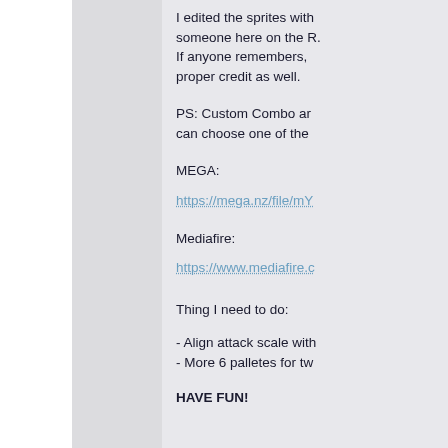I edited the sprites with someone here on the R. If anyone remembers, proper credit as well.
PS: Custom Combo ar can choose one of the
MEGA:
https://mega.nz/file/mY
Mediafire:
https://www.mediafire.c
Thing I need to do:
- Align attack scale with
- More 6 palletes for tw
HAVE FUN!